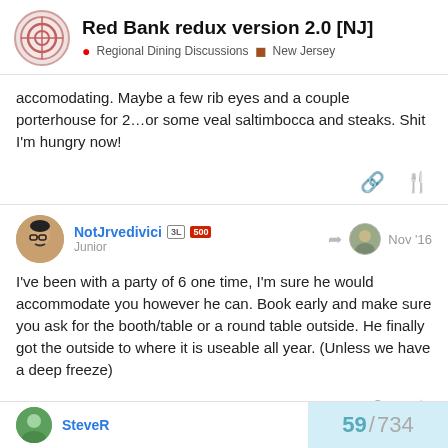Red Bank redux version 2.0 [NJ] | Regional Dining Discussions | New Jersey
accomodating. Maybe a few rib eyes and a couple porterhouse for 2…or some veal saltimbocca and steaks. Shit I'm hungry now!
NotJrvedivici | Junior | Nov '16
I've been with a party of 6 one time, I'm sure he would accommodate you however he can. Book early and make sure you ask for the booth/table or a round table outside. He finally got the outside to where it is useable all year. (Unless we have a deep freeze)
SteveR
59 / 734